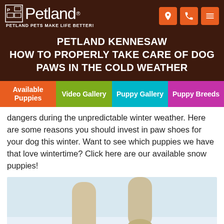Petland — Petland Pets Make Life Better!
PETLAND KENNESAW
HOW TO PROPERLY TAKE CARE OF DOG PAWS IN THE COLD WEATHER
Available Puppies | Video Gallery | Puppy Gallery | Puppy Breeds
dangers during the unpredictable winter weather. Here are some reasons you should invest in paw shoes for your dog this winter. Want to see which puppies we have that love wintertime? Click here are our available snow puppies!
[Figure (photo): Close-up photo of two dog paws/legs standing in white snow]